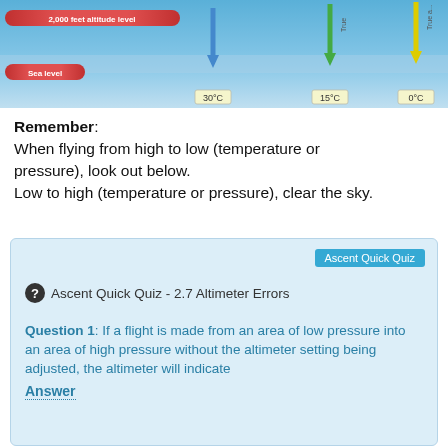[Figure (illustration): Diagram showing temperature layers at altitude with red banners (2,000 feet altitude layer and sea level), colored downward arrows (blue, green, yellow) and temperature labels 30°C, 15°C, 0°C against a blue sky background.]
Remember:
When flying from high to low (temperature or pressure), look out below.
Low to high (temperature or pressure), clear the sky.
Ascent Quick Quiz
Ascent Quick Quiz - 2.7 Altimeter Errors
Question 1: If a flight is made from an area of low pressure into an area of high pressure without the altimeter setting being adjusted, the altimeter will indicate
Answer
Question 2: If a flight is made from an area of high pressure into an area of lower pressure without the altimeter setting being adjusted,